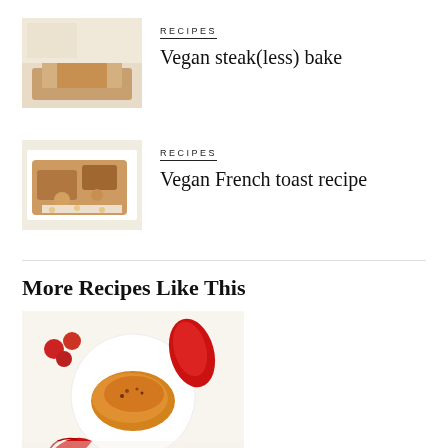RECIPES
Vegan steak(less) bake
[Figure (photo): Photo of a vegan steak(less) bake, golden pastry on a white surface]
RECIPES
Vegan French toast recipe
[Figure (photo): Photo of vegan French toast with sauce and nuts on a white plate]
More Recipes Like This
[Figure (photo): Overhead photo of a pasta dish in a white bowl with tomatoes and a red pepper on a white background]